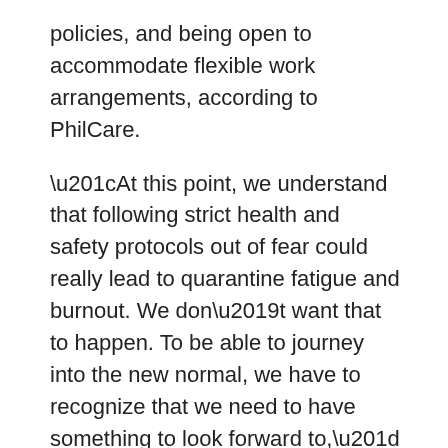policies, and being open to accommodate flexible work arrangements, according to PhilCare.
“At this point, we understand that following strict health and safety protocols out of fear could really lead to quarantine fatigue and burnout. We don’t want that to happen. To be able to journey into the new normal, we have to recognize that we need to have something to look forward to,” added Mr. Tanco.
The PhilCare Wellness Index was conducted via a nationwide telephone survey in September 2021, covering Metro Manila and 65 provinces. Most respondents are employees, with 64.5% working for private firms. — Brontë H. Lacsamana